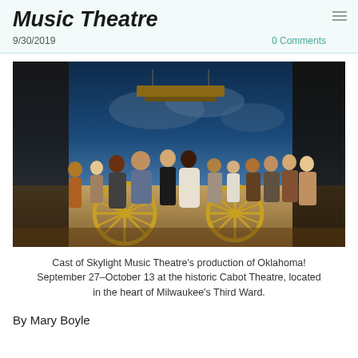Music Theatre
9/30/2019   0 Comments
[Figure (photo): Cast of Skylight Music Theatre standing on stage in period costumes for the production of Oklahoma!, with a wagon wheel and theatrical backdrop visible.]
Cast of Skylight Music Theatre's production of Oklahoma! September 27–October 13 at the historic Cabot Theatre, located in the heart of Milwaukee's Third Ward.
By Mary Boyle